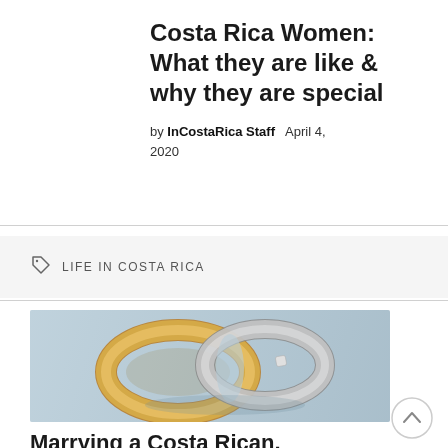Costa Rica Women: What they are like & why they are special
by InCostaRica Staff   April 4, 2020
LIFE IN COSTA RICA
[Figure (photo): Two gold wedding bands/rings on a light blue background]
Marrying a Costa Rican, Residency and Cultural